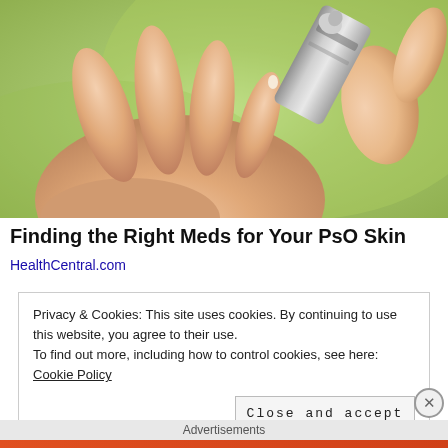[Figure (photo): Close-up photo of a hand with open palm facing up, and another hand squeezing cream/ointment from a metal tube onto the palm, against a blurred green background.]
Finding the Right Meds for Your PsO Skin
HealthCentral.com
Privacy & Cookies: This site uses cookies. By continuing to use this website, you agree to their use.
To find out more, including how to control cookies, see here: Cookie Policy
Close and accept
Advertisements